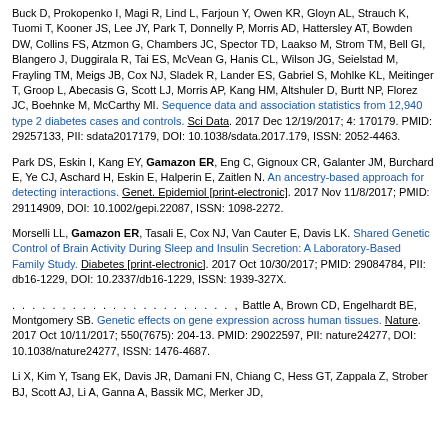Buck D, Prokopenko I, Magi R, Lind L, Farjoun Y, Owen KR, Gloyn AL, Strauch K, Tuomi T, Kooner JS, Lee JY, Park T, Donnelly P, Morris AD, Hattersley AT, Bowden DW, Collins FS, Atzmon G, Chambers JC, Spector TD, Laakso M, Strom TM, Bell GI, Blangero J, Duggirala R, Tai ES, McVean G, Hanis CL, Wilson JG, Seielstad M, Frayling TM, Meigs JB, Cox NJ, Sladek R, Lander ES, Gabriel S, Mohlke KL, Meitinger T, Groop L, Abecasis G, Scott LJ, Morris AP, Kang HM, Altshuler D, Burtt NP, Florez JC, Boehnke M, McCarthy MI. Sequence data and association statistics from 12,940 type 2 diabetes cases and controls. Sci Data. 2017 Dec 12/19/2017; 4: 170179. PMID: 29257133, PII: sdata2017179, DOI: 10.1038/sdata.2017.179, ISSN: 2052-4463.
Park DS, Eskin I, Kang EY, Gamazon ER, Eng C, Gignoux CR, Galanter JM, Burchard E, Ye CJ, Aschard H, Eskin E, Halperin E, Zaitlen N. An ancestry-based approach for detecting interactions. Genet. Epidemiol [print-electronic]. 2017 Nov 11/8/2017; PMID: 29114909, DOI: 10.1002/gepi.22087, ISSN: 1098-2272.
Morselli LL, Gamazon ER, Tasali E, Cox NJ, Van Cauter E, Davis LK. Shared Genetic Control of Brain Activity During Sleep and Insulin Secretion: A Laboratory-Based Family Study. Diabetes [print-electronic]. 2017 Oct 10/30/2017; PMID: 29084784, PII: db16-1229, DOI: 10.2337/db16-1229, ISSN: 1939-327X.
. . . . . . . . . . . . . . . . . . . . . . , Battle A, Brown CD, Engelhardt BE, Montgomery SB. Genetic effects on gene expression across human tissues. Nature. 2017 Oct 10/11/2017; 550(7675): 204-13. PMID: 29022597, PII: nature24277, DOI: 10.1038/nature24277, ISSN: 1476-4687.
Li X, Kim Y, Tsang EK, Davis JR, Damani FN, Chiang C, Hess GT, Zappala Z, Strober BJ, Scott AJ, Li A, Ganna A, Bassik MC, Merker JD, ...